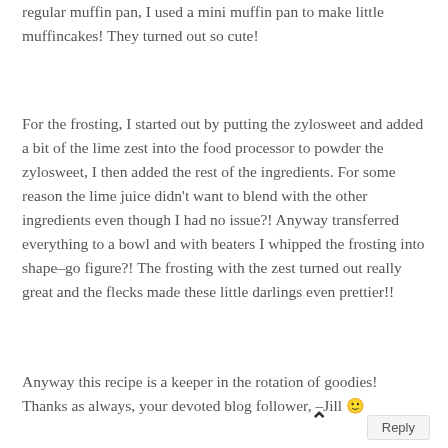regular muffin pan, I used a mini muffin pan to make little muffincakes! They turned out so cute!
For the frosting, I started out by putting the zylosweet and added a bit of the lime zest into the food processor to powder the zylosweet, I then added the rest of the ingredients. For some reason the lime juice didn't want to blend with the other ingredients even though I had no issue?! Anyway transferred everything to a bowl and with beaters I whipped the frosting into shape–go figure?! The frosting with the zest turned out really great and the flecks made these little darlings even prettier!!
Anyway this recipe is a keeper in the rotation of goodies! Thanks as always, your devoted blog follower, –Jill 🙂